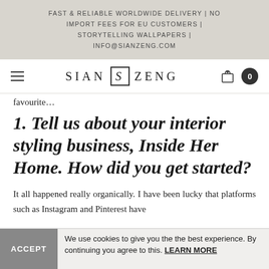FAST & RELIABLE WORLDWIDE DELIVERY | NO IMPORT FEES FOR EU CUSTOMERS | STORYTELLING WALLPAPERS | INFO@SIANZENG.COM
SIAN S ZENG  0
favourite…
1. Tell us about your interior styling business, Inside Her Home. How did you get started?
It all happened really organically. I have been lucky that platforms such as Instagram and Pinterest have
We use cookies to give you the the best experience. By continuing you agree to this. LEARN MORE